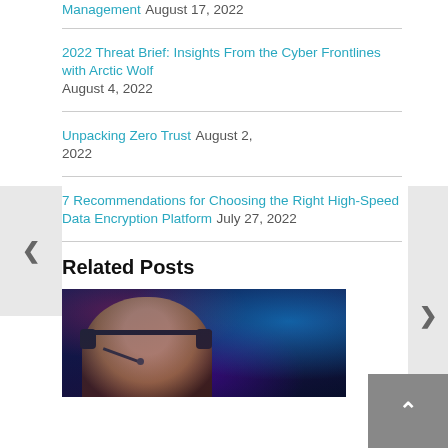Management August 17, 2022
2022 Threat Brief: Insights From the Cyber Frontlines with Arctic Wolf August 4, 2022
Unpacking Zero Trust August 2, 2022
7 Recommendations for Choosing the Right High-Speed Data Encryption Platform July 27, 2022
Related Posts
[Figure (photo): Person wearing a headset in a dark blue and purple lit environment, looking slightly downward. The image has a cybersecurity/SOC analyst theme.]